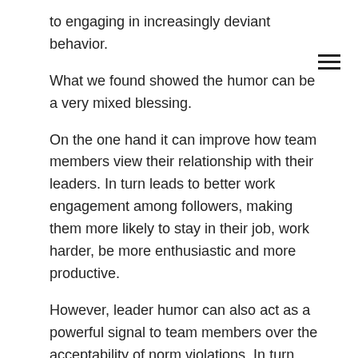to engaging in increasingly deviant behavior.
What we found showed the humor can be a very mixed blessing.
On the one hand it can improve how team members view their relationship with their leaders. In turn leads to better work engagement among followers, making them more likely to stay in their job, work harder, be more enthusiastic and more productive.
However, leader humor can also act as a powerful signal to team members over the acceptability of norm violations. In turn this can develop into increased incidents of deviant behavior.